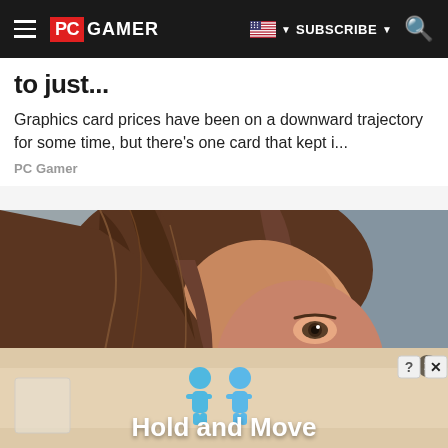PC GAMER — SUBSCRIBE — Search
to just...
Graphics card prices have been on a downward trajectory for some time, but there's one card that kept i...
PC Gamer
[Figure (photo): Close-up photo of a smiling woman with long brown wavy hair partially covering her face, with one visible eye looking upward. She is wearing a black top against a blurred gray background.]
[Figure (advertisement): Ad banner with tan/beige background showing blue cartoon figures and text 'Hold and Move', with close/question buttons in top right corner.]